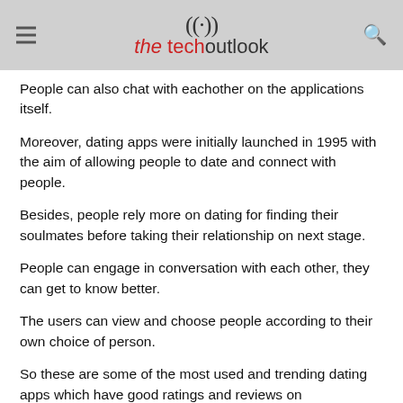the tech outlook
People can also chat with eachother on the applications itself.
Moreover, dating apps were initially launched in 1995 with the aim of allowing people to date and connect with people.
Besides, people rely more on dating for finding their soulmates before taking their relationship on next stage.
People can engage in conversation with each other, they can get to know better.
The users can view and choose people according to their own choice of person.
So these are some of the most used and trending dating apps which have good ratings and reviews on playstore/appstore.
The following are some of the best dating apps in the US –